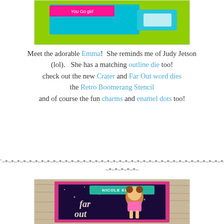[Figure (photo): Top portion of a crafting/card image showing bright green and teal colored card elements with pink text banner]
Meet the adorable Emma!  She reminds me of Judy Jetson (lol).   She has a matching outline die too!
 check out the new Crater and Far Out word dies
 the Retro Boomerang Stencil
 and of course the fun charms and enamel dots too!
`~*~*~*~*~*~*~*~*~*~*~*~*~*~*~*~*~*~*~*~*~*~*~*~*~*~*~*~*~*~*~*~*~*~*~*~*~*~*~*~*~*~*~*~*~*~*~*~*~*~*~
~*~*~*~*~*~
[Figure (photo): Handmade greeting card with 'far out' text and anime-style girl character (Emma) on a galaxy/space dark background, shown against wood grain backdrop. Nicole Elliott stamp artist watermark visible.]